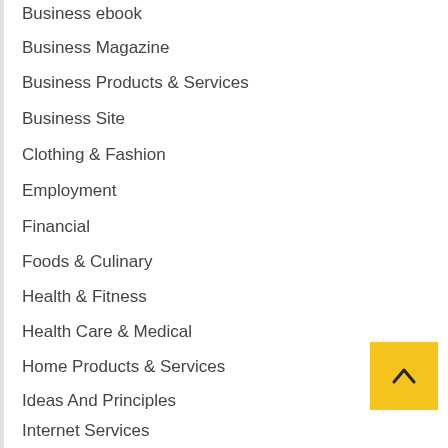Business ebook
Business Magazine
Business Products & Services
Business Site
Clothing & Fashion
Employment
Financial
Foods & Culinary
Health & Fitness
Health Care & Medical
Home Products & Services
Ideas And Principles
Internet Services
Legal